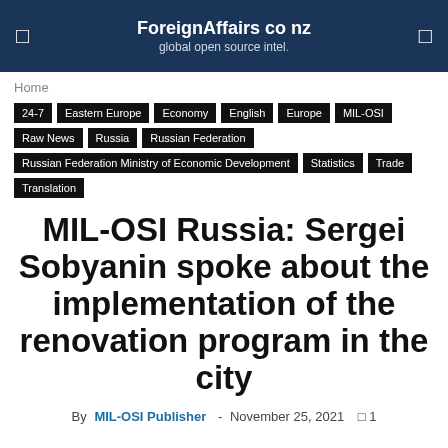ForeignAffairs co nz
global open source intel.
Home
24-7
Eastern Europe
Economy
English
Europe
MIL-OSI
Raw News
Russia
Russian Federation
Russian Federation Ministry of Economic Development
Statistics
Trade
Translation
MIL-OSI Russia: Sergei Sobyanin spoke about the implementation of the renovation program in the city
By MIL-OSI Publisher - November 25, 2021 ☐ 1